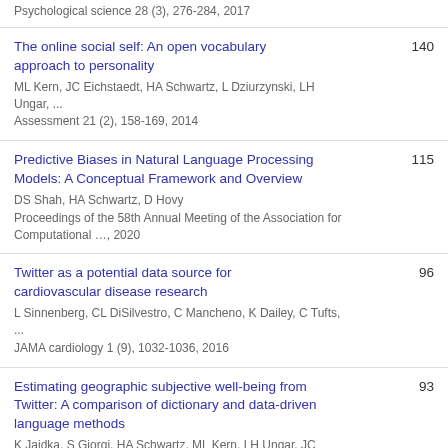Psychological science 28 (3), 276-284, 2017
The online social self: An open vocabulary approach to personality
ML Kern, JC Eichstaedt, HA Schwartz, L Dziurzynski, LH Ungar, ...
Assessment 21 (2), 158-169, 2014
140
Predictive Biases in Natural Language Processing Models: A Conceptual Framework and Overview
DS Shah, HA Schwartz, D Hovy
Proceedings of the 58th Annual Meeting of the Association for Computational ..., 2020
115
Twitter as a potential data source for cardiovascular disease research
L Sinnenberg, CL DiSilvestro, C Mancheno, K Dailey, C Tufts, ...
JAMA cardiology 1 (9), 1032-1036, 2016
96
Estimating geographic subjective well-being from Twitter: A comparison of dictionary and data-driven language methods
K Jaidka, S Giorgi, HA Schwartz, ML Kern, LH Ungar, JC
93